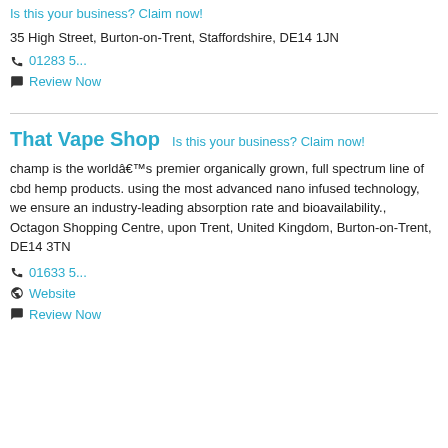Is this your business? Claim now!
35 High Street, Burton-on-Trent, Staffordshire, DE14 1JN
📞 01283 5...
💬 Review Now
That Vape Shop
Is this your business? Claim now!
champ is the worldâ€™s premier organically grown, full spectrum line of cbd hemp products. using the most advanced nano infused technology, we ensure an industry-leading absorption rate and bioavailability., Octagon Shopping Centre, upon Trent, United Kingdom, Burton-on-Trent, DE14 3TN
📞 01633 5...
🌐 Website
💬 Review Now